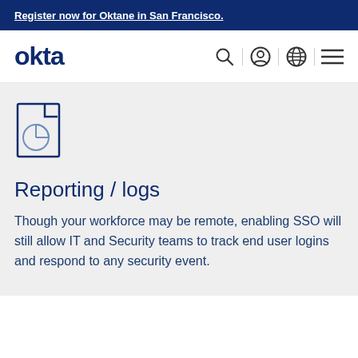Register now for Oktane in San Francisco.
[Figure (logo): Okta logo in dark navy blue with navigation icons: search, user, globe, and hamburger menu]
[Figure (illustration): Document/report icon with pie chart graphic, dark navy outline style]
Reporting / logs
Though your workforce may be remote, enabling SSO will still allow IT and Security teams to track end user logins and respond to any security event.